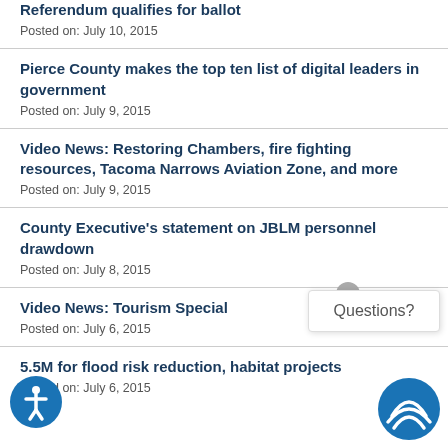Referendum qualifies for ballot
Posted on: July 10, 2015
Pierce County makes the top ten list of digital leaders in government
Posted on: July 9, 2015
Video News: Restoring Chambers, fire fighting resources, Tacoma Narrows Aviation Zone, and more
Posted on: July 9, 2015
County Executive's statement on JBLM personnel drawdown
Posted on: July 8, 2015
Video News: Tourism Special
Posted on: July 6, 2015
5.5M for flood risk reduction, habitat projects
Posted on: July 6, 2015